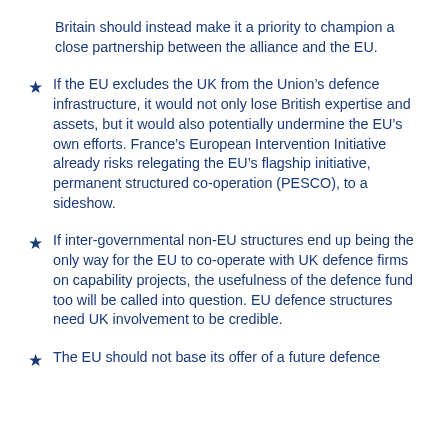Britain should instead make it a priority to champion a close partnership between the alliance and the EU.
If the EU excludes the UK from the Union’s defence infrastructure, it would not only lose British expertise and assets, but it would also potentially undermine the EU’s own efforts. France’s European Intervention Initiative already risks relegating the EU’s flagship initiative, permanent structured co-operation (PESCO), to a sideshow.
If inter-governmental non-EU structures end up being the only way for the EU to co-operate with UK defence firms on capability projects, the usefulness of the defence fund too will be called into question. EU defence structures need UK involvement to be credible.
The EU should not base its offer of a future defence